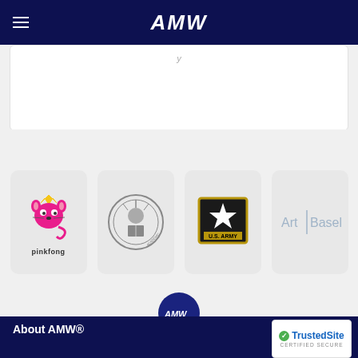AMW
[Figure (logo): AMW website screenshot showing navigation header with hamburger menu and AMW logo in dark navy background]
[Figure (logo): Pinkfong logo - pink cat character with crown]
[Figure (logo): University/academic institution circular seal logo]
[Figure (logo): U.S. Army star logo on black and gold background]
[Figure (logo): Art Basel logo in light blue/grey text]
[Figure (logo): AMW circular dark navy logo with AMW text]
About AMW®
[Figure (logo): TrustedSite Certified Secure badge]